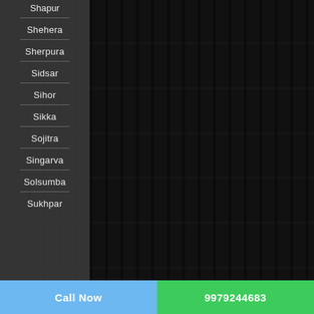Shapur
Shehera
Sherpura
Sidsar
Sihor
Sikka
Sojitra
Singarva
Solsumba
Sukhpar
Call Now   9979244683